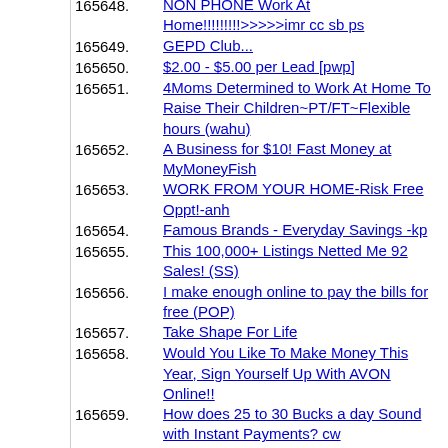165648. NON PHONE Work At Home!!!!!!!!!>>>>>imr cc sb ps
165649. GEPD Club...
165650. $2.00 - $5.00 per Lead [pwp]
165651. 4Moms Determined to Work At Home To Raise Their Children~PT/FT~Flexible hours (wahu)
165652. A Business for $10! Fast Money at MyMoneyFish
165653. WORK FROM YOUR HOME-Risk Free Oppt!-anh
165654. Famous Brands - Everyday Savings -kp
165655. This 100,000+ Listings Netted Me 92 Sales! (SS)
165656. I make enough online to pay the bills for free (POP)
165657. Take Shape For Life
165658. Would You Like To Make Money This Year, Sign Yourself Up With AVON Online!!
165659. How does 25 to 30 Bucks a day Sound with Instant Payments? cw
165660. My Country Barn!
165661. This is Crazy!! mmp
165662. WORK FROM YOUR HOME-Risk Free Oppt!-anh
165663. Realistic Income Without All The Gimmicks!RE
165664. Low cost start up home biz.
165665. Everybody Earns! Everybody Wins! (fcg)